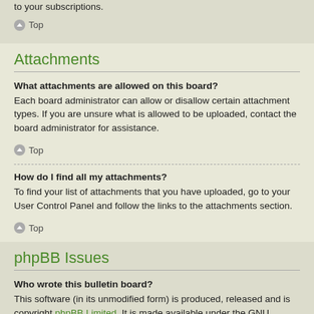to your subscriptions.
Top
Attachments
What attachments are allowed on this board?
Each board administrator can allow or disallow certain attachment types. If you are unsure what is allowed to be uploaded, contact the board administrator for assistance.
Top
How do I find all my attachments?
To find your list of attachments that you have uploaded, go to your User Control Panel and follow the links to the attachments section.
Top
phpBB Issues
Who wrote this bulletin board?
This software (in its unmodified form) is produced, released and is copyright phpBB Limited. It is made available under the GNU General Public License, version 2 (GPL-2.0) and may be freely distributed. See About phpBB for more details.